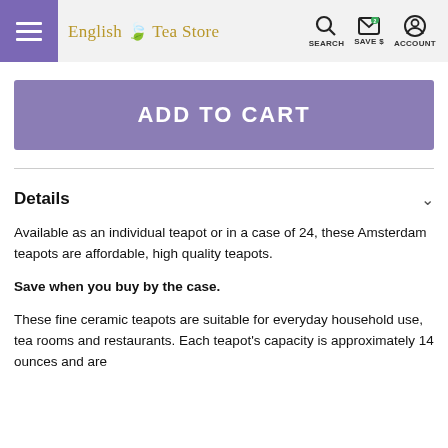English Tea Store — SEARCH SAVE $ ACCOUNT
ADD TO CART
Details
Available as an individual teapot or in a case of 24, these Amsterdam teapots are affordable, high quality teapots.
Save when you buy by the case.
These fine ceramic teapots are suitable for everyday household use, tea rooms and restaurants. Each teapot's capacity is approximately 14 ounces and are